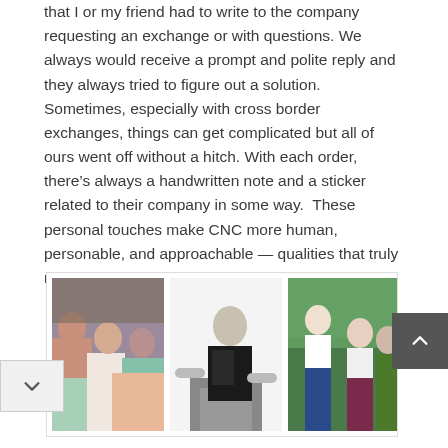that I or my friend had to write to the company requesting an exchange or with questions. We always would receive a prompt and polite reply and they always tried to figure out a solution. Sometimes, especially with cross border exchanges, things can get complicated but all of ours went off without a hitch. With each order, there's always a handwritten note and a sticker related to their company in some way.  These personal touches make CNC more human, personable, and approachable — qualities that truly make up part of their narrative.
[Figure (photo): Three panels showing women in athletic/activewear. Left panel: group of women posing in colorful sports bras and leggings. Middle panel: woman in black athletic wear doing a lunge exercise. Right panel: group of women in athletic wear outdoors in a green setting.]